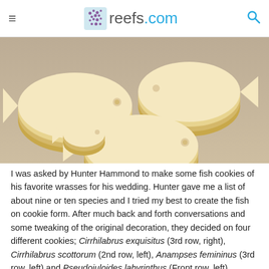reefs.com
[Figure (photo): Fish-shaped sugar cookies stacked on a light surface, showing multiple fish outlines in plain undecorated cookie form.]
I was asked by Hunter Hammond to make some fish cookies of his favorite wrasses for his wedding. Hunter gave me a list of about nine or ten species and I tried my best to create the fish on cookie form. After much back and forth conversations and some tweaking of the original decoration, they decided on four different cookies; Cirrhilabrus exquisitus (3rd row, right), Cirrhilabrus scottorum (2nd row, left), Anampses femininus (3rd row, left) and Pseudojuloides labyrinthus (Front row, left).